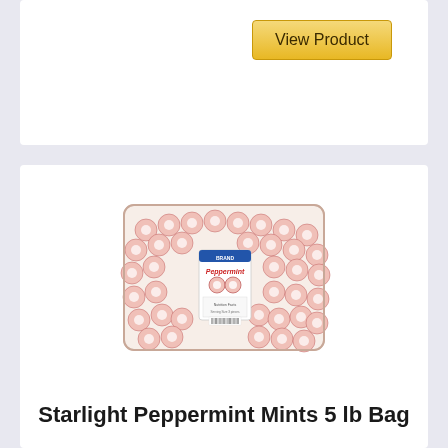[Figure (screenshot): View Product button — gold/yellow gradient button with dark text]
[Figure (photo): A large clear plastic bag filled with red and white starlight peppermint candies, with a branded label in the center]
Starlight Peppermint Mints 5 lb Bag